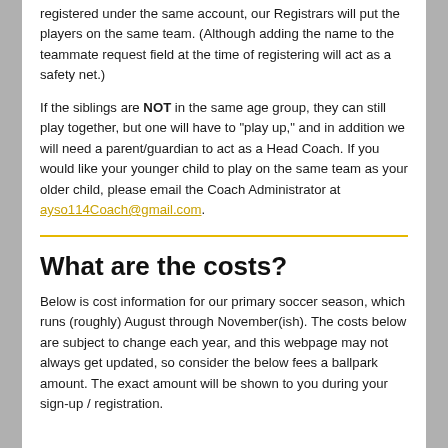registered under the same account, our Registrars will put the players on the same team. (Although adding the name to the teammate request field at the time of registering will act as a safety net.)
If the siblings are NOT in the same age group, they can still play together, but one will have to "play up," and in addition we will need a parent/guardian to act as a Head Coach. If you would like your younger child to play on the same team as your older child, please email the Coach Administrator at ayso114Coach@gmail.com.
What are the costs?
Below is cost information for our primary soccer season, which runs (roughly) August through November(ish). The costs below are subject to change each year, and this webpage may not always get updated, so consider the below fees a ballpark amount. The exact amount will be shown to you during your sign-up / registration.